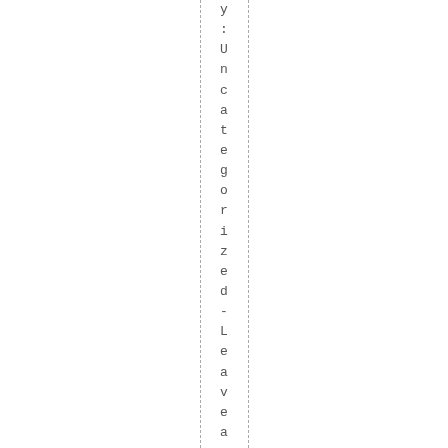y: Uncategorized - Leave a coo